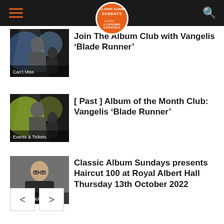Classic Album Sundays
[Figure (screenshot): Thumbnail image for Blade Runner album article with Can't Miss label]
Join The Album Club with Vangelis 'Blade Runner'
[Figure (screenshot): Thumbnail image for Blade Runner past album of the month with Events & Tickets label]
[ Past ] Album of the Month Club: Vangelis 'Blade Runner'
[Figure (photo): Thumbnail photo of man with glasses for Haircut 100 event with Events & Tickets label]
Classic Album Sundays presents Haircut 100 at Royal Albert Hall Thursday 13th October 2022